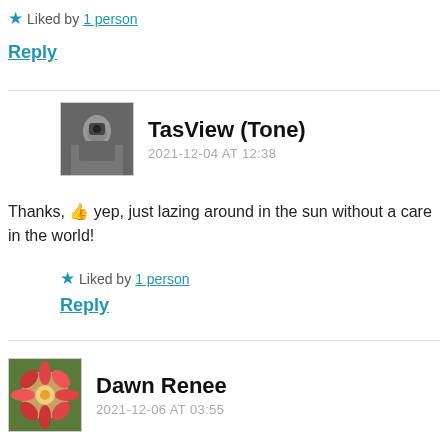★ Liked by 1 person
Reply
TasView (Tone)
2021-12-04 AT 12:38
Thanks, 👍 yep, just lazing around in the sun without a care in the world!
★ Liked by 1 person
Reply
Dawn Renee
2021-12-06 AT 03:55